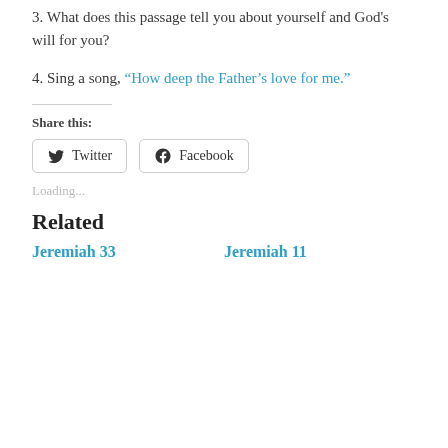3. What does this passage tell you about yourself and God's will for you?
4. Sing a song, “How deep the Father’s love for me.”
Share this:
[Figure (other): Share buttons for Twitter and Facebook]
Loading...
Related
Jeremiah 33    Jeremiah 11